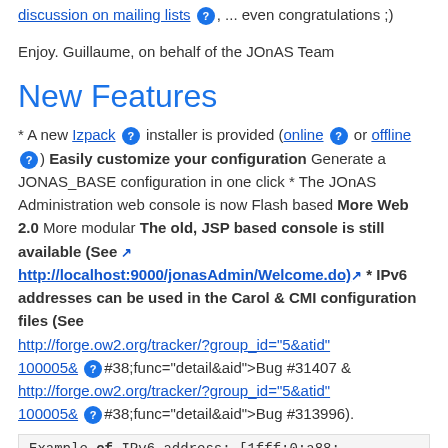discussion on mailing lists ?, ... even congratulations ;)
Enjoy. Guillaume, on behalf of the JOnAS Team
New Features
* A new Izpack ? installer is provided (online ? or offline ?) Easily customize your configuration Generate a JONAS_BASE configuration in one click * The JOnAS Administration web console is now Flash based More Web 2.0 More modular The old, JSP based console is still available (See http://localhost:9000/jonasAdmin/Welcome.do) * IPv6 addresses can be used in the Carol & CMI configuration files (See http://forge.ow2.org/tracker/?group_id="5&atid" 100005& ?#38;func="detail&aid">Bug #31407 & http://forge.ow2.org/tracker/?group_id="5&atid" 100005& ?#38;func="detail&aid">Bug #313996).
Example of IPv6 address: [1fff:0:a88: